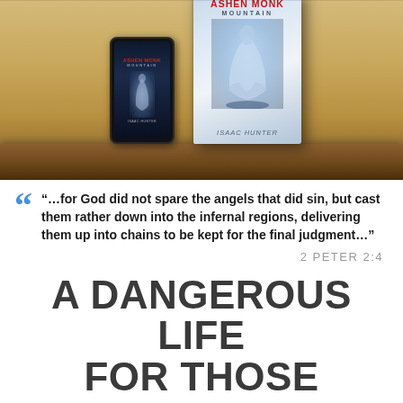[Figure (photo): Book cover mockup showing 'Ashen Monk Mountain' by Isaac Hunter — a physical book and phone/ebook displayed on a wooden shelf against a tan/brown background. The cover features a cloaked figure in a misty blue-white scene.]
“…for God did not spare the angels that did sin, but cast them rather down into the infernal regions, delivering them up into chains to be kept for the final judgment…”
2 PETER 2:4
A DANGEROUS LIFE FOR THOSE CALLED